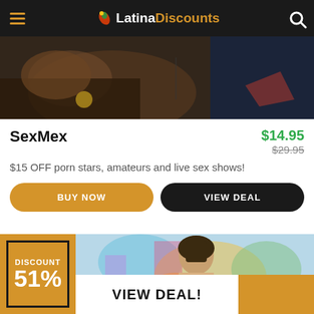LatinaDiscounts
[Figure (photo): Close-up photo of a person in dark clothing]
SexMex
$14.95 $29.95
$15 OFF porn stars, amateurs and live sex shows!
BUY NOW  VIEW DEAL
[Figure (photo): Woman with colorful graffiti background, with DISCOUNT 51% badge overlay]
VIEW DEAL!